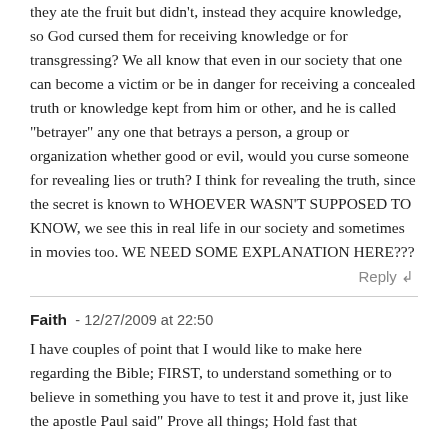they ate the fruit but didn't, instead they acquire knowledge, so God cursed them for receiving knowledge or for transgressing? We all know that even in our society that one can become a victim or be in danger for receiving a concealed truth or knowledge kept from him or other, and he is called "betrayer" any one that betrays a person, a group or organization whether good or evil, would you curse someone for revealing lies or truth? I think for revealing the truth, since the secret is known to WHOEVER WASN'T SUPPOSED TO KNOW, we see this in real life in our society and sometimes in movies too. WE NEED SOME EXPLANATION HERE???
Reply ↲
Faith - 12/27/2009 at 22:50
I have couples of point that I would like to make here regarding the Bible; FIRST, to understand something or to believe in something you have to test it and prove it, just like the apostle Paul said" Prove all things; Hold fast that